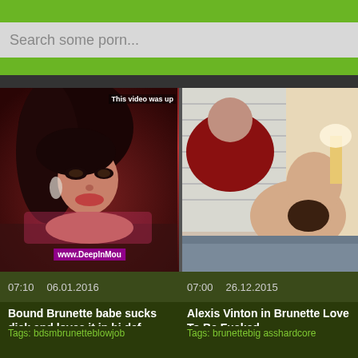Search some porn...
[Figure (screenshot): Left video thumbnail - brunette woman, adult content, watermark www.DeepInMou..., overlay text 'This video was up']
[Figure (screenshot): Right video thumbnail - adult content, man and woman]
07:10   06.01.2016
07:00   26.12.2015
Bound Brunette babe sucks dick and loves it in hi def
Alexis Vinton in Brunette Love To Be Fucked
Tags: bdsmbrunetteblowjob
Tags: brunettebig asshardcore